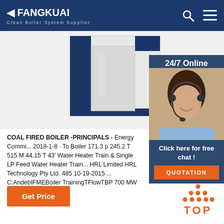FANGKUAI - Clean Boiler System Supplier
[Figure (photo): Industrial coal-fired boiler unit, white and navy blue casing, partial view]
[Figure (photo): 24/7 Online customer support widget with woman wearing headset]
COAL FIRED BOILER -PRINCIPALS - Energy Commi... 2018-1-8 · To Boiler 171.3 p 245.2 T 515 M 44.15 T 43' Water Heater Train & Single LP Feed Water Heater Train... HRL Limited HRL Technology Pty Ltd. 485 10-19-2015 ... C:AndebIFMEBoiler TrainingTFlowTBP 700 MW Unit,
Click here for free chat !
QUOTATION
Get Price
TOP